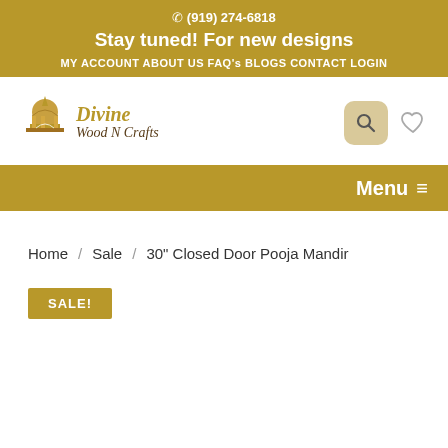☎ (919) 274-6818
Stay tuned! For new designs
MY ACCOUNT  ABOUT US  FAQ's  BLOGS  CONTACT  LOGIN
[Figure (logo): Divine Wood N Crafts logo with temple icon]
Menu ≡
Home / Sale / 30" Closed Door Pooja Mandir
SALE!